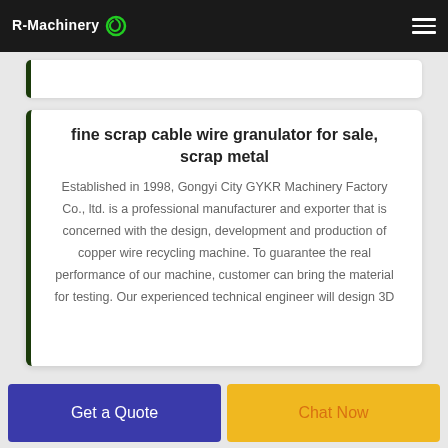R-Machinery
fine scrap cable wire granulator for sale, scrap metal
Established in 1998, Gongyi City GYKR Machinery Factory Co., ltd. is a professional manufacturer and exporter that is concerned with the design, development and production of copper wire recycling machine. To guarantee the real performance of our machine, customer can bring the material for testing. Our experienced technical engineer will design 3D
Get a Quote
Chat Now